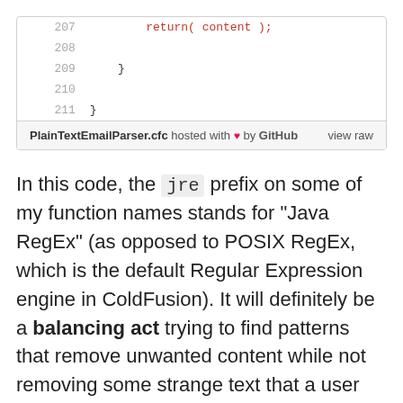[Figure (screenshot): Code snippet showing lines 207-211 of PlainTextEmailParser.cfc with a return statement and closing braces, hosted on GitHub]
In this code, the jre prefix on some of my function names stands for "Java RegEx" (as opposed to POSIX RegEx, which is the default Regular Expression engine in ColdFusion). It will definitely be a balancing act trying to find patterns that remove unwanted content while not removing some strange text that a user intended to include in the comment.